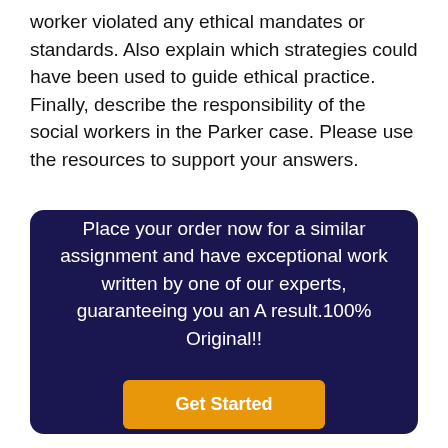worker violated any ethical mandates or standards. Also explain which strategies could have been used to guide ethical practice. Finally, describe the responsibility of the social workers in the Parker case. Please use the resources to support your answers.
[Figure (infographic): Dark navy blue rounded rectangle promotional box containing centered white text and an orange 'Get Started' button]
Place your order now for a similar assignment and have exceptional work written by one of our experts, guaranteeing you an A result.100% Original!!
Get Started